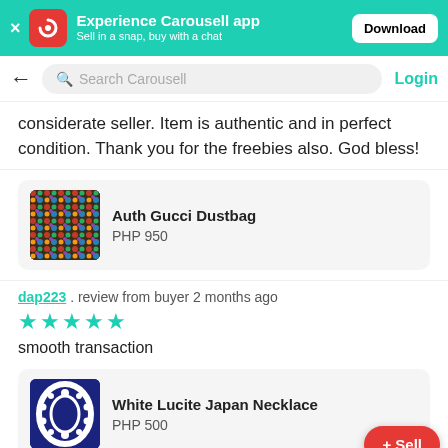Experience Carousell app — Sell in a snap, buy with a chat — Download
Search Carousell — Login
considerate seller. Item is authentic and in perfect condition. Thank you for the freebies also. God bless!
[Figure (photo): Auth Gucci Dustbag product thumbnail — colorful patterned fabric]
Auth Gucci Dustbag
PHP 950
dap223 . review from buyer 2 months ago
★★★★★ smooth transaction
[Figure (photo): White Lucite Japan Necklace product thumbnail — blue background with white necklace]
White Lucite Japan Necklace
PHP 500